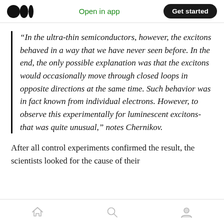Open in app | Get started
“In the ultra-thin semiconductors, however, the excitons behaved in a way that we have never seen before. In the end, the only possible explanation was that the excitons would occasionally move through closed loops in opposite directions at the same time. Such behavior was in fact known from individual electrons. However, to observe this experimentally for luminescent excitons-that was quite unusual,” notes Chernikov.
After all control experiments confirmed the result, the scientists looked for the cause of their
Home | Search | Profile